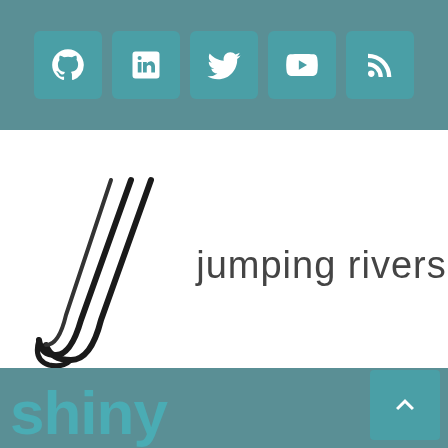[Figure (other): Top header bar with social media icon buttons: GitHub, LinkedIn, Twitter, YouTube, RSS — teal/dark teal background]
[Figure (logo): Jumping Rivers logo: stylized cursive JR monogram on the left, with text 'jumping rivers' in light sans-serif font on the right]
≡ MENU
[Figure (other): Bottom teal bar with scroll-to-top button (chevron up arrow) on the right side, and large teal 'shiny' text partially visible at bottom left]